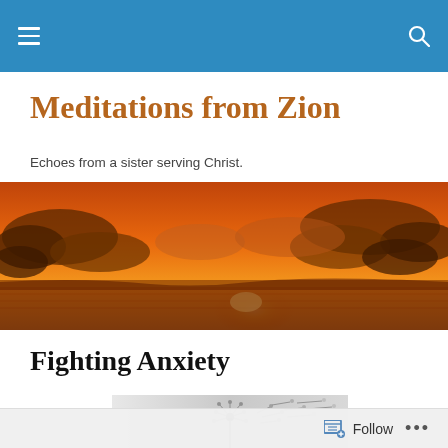Navigation bar with hamburger menu and search icon
Meditations from Zion
Echoes from a sister serving Christ.
[Figure (photo): Wide panoramic photo of a dramatic orange and red sunset over water with dark clouds]
Fighting Anxiety
[Figure (photo): Close-up black and white photo of a dandelion with seeds blowing away]
Follow  •••